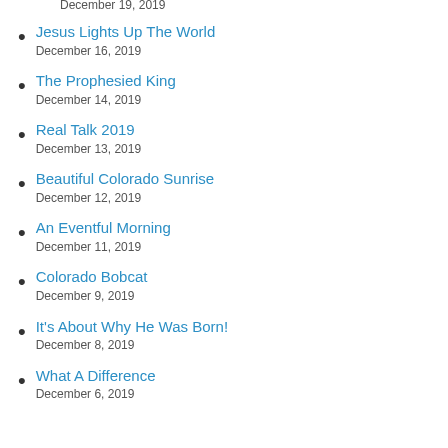December 19, 2019
Jesus Lights Up The World
December 16, 2019
The Prophesied King
December 14, 2019
Real Talk 2019
December 13, 2019
Beautiful Colorado Sunrise
December 12, 2019
An Eventful Morning
December 11, 2019
Colorado Bobcat
December 9, 2019
It's About Why He Was Born!
December 8, 2019
What A Difference
December 6, 2019